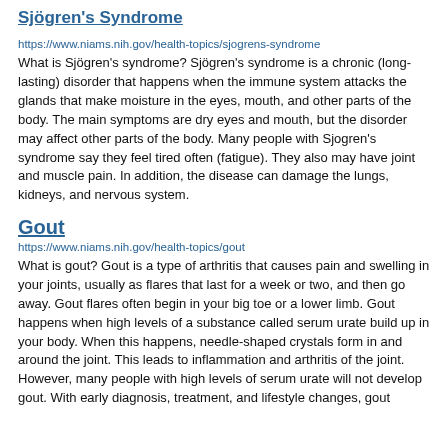Sjögren's Syndrome
https://www.niams.nih.gov/health-topics/sjogrens-syndrome
What is Sjögren's syndrome? Sjögren's syndrome is a chronic (long-lasting) disorder that happens when the immune system attacks the glands that make moisture in the eyes, mouth, and other parts of the body. The main symptoms are dry eyes and mouth, but the disorder may affect other parts of the body. Many people with Sjogren's syndrome say they feel tired often (fatigue). They also may have joint and muscle pain. In addition, the disease can damage the lungs, kidneys, and nervous system.
Gout
https://www.niams.nih.gov/health-topics/gout
What is gout? Gout is a type of arthritis that causes pain and swelling in your joints, usually as flares that last for a week or two, and then go away. Gout flares often begin in your big toe or a lower limb. Gout happens when high levels of a substance called serum urate build up in your body. When this happens, needle-shaped crystals form in and around the joint. This leads to inflammation and arthritis of the joint. However, many people with high levels of serum urate will not develop gout. With early diagnosis, treatment, and lifestyle changes, gout